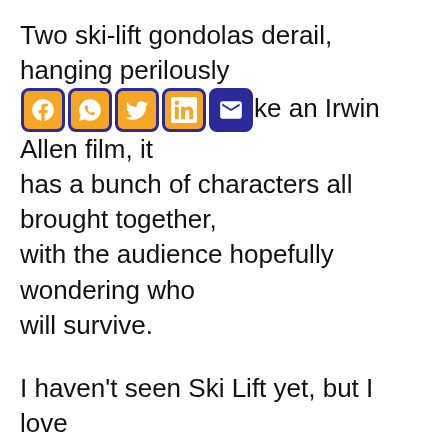Two ski-lift gondolas derail, hanging perilously [social icons] ke an Irwin Allen film, it has a bunch of characters all brought together, with the audience hopefully wondering who will survive.
[Figure (other): Row of five social media share icons: Facebook, WhatsApp, Twitter, LinkedIn, Email — orange square buttons with dark blue border]
I haven't seen Ski Lift yet, but I love discovering lost cheeseball stuff from the 70s I haven't seen yet, and you can watch it on